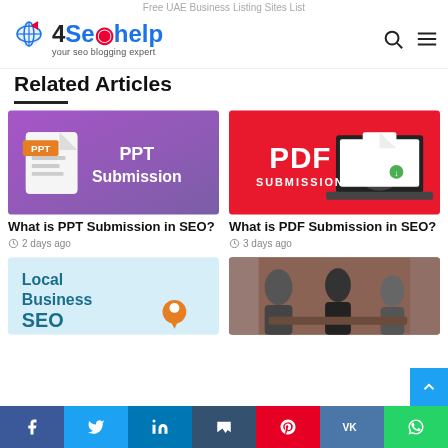Free UAE Business Listing Sites List
[Figure (logo): 4SeoHelp logo with globe icon and arrow, tagline: your seo blogging expert]
Related Articles
[Figure (illustration): PPT Submission banner with purple/pink gradient background, PPT file icon and text 'PPT Submission']
What is PPT Submission in SEO?
2 days ago
[Figure (illustration): PDF Submission banner with red background, PDF text and laptop with PDF file icon]
What is PDF Submission in SEO?
3 days ago
[Figure (illustration): Local Business SEO banner with light blue background and location pin]
[Figure (photo): Photo of business people in a meeting room with brick wall background]
Social share bar: Facebook, Twitter, LinkedIn, Tumblr, Pinterest, VK, WhatsApp